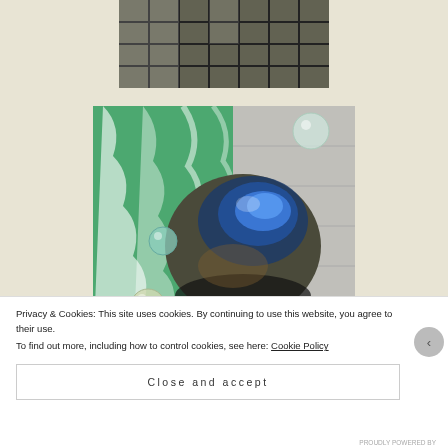[Figure (photo): Top partial photo showing what appears to be a dark metallic or industrial surface with grid-like patterns, partially cropped]
[Figure (photo): A labradorite palm stone with vivid blue flash/labradorescence, sitting on a green and white zebra-print surface with glass marbles surrounding it]
Privacy & Cookies: This site uses cookies. By continuing to use this website, you agree to their use.
To find out more, including how to control cookies, see here: Cookie Policy
Close and accept